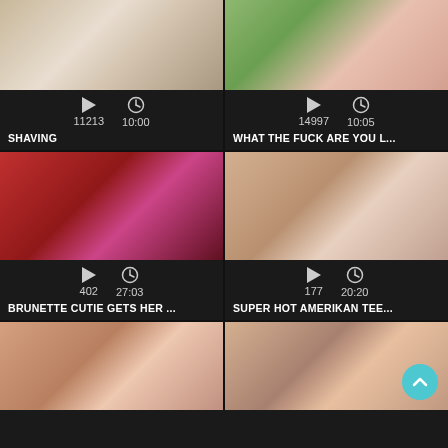[Figure (screenshot): Video thumbnail 1 - top left]
[Figure (screenshot): Video thumbnail 2 - top right]
11213  10:00  SHAVING
14997  10:05  WHAT THE FUCK ARE YOU L...
[Figure (screenshot): Video thumbnail 3 - middle left]
[Figure (screenshot): Video thumbnail 4 - middle right]
402  27:03  BRUNETTE CUTIE GETS HER ...
177  20:20  SUPER HOT AMERIKAN TEE...
[Figure (screenshot): Video thumbnail 5 - bottom left]
[Figure (screenshot): Video thumbnail 6 - bottom right]